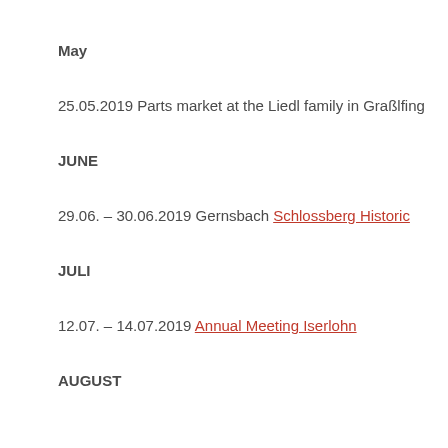May
25.05.2019 Parts market at the Liedl family in Graßlfing
JUNE
29.06. – 30.06.2019 Gernsbach Schlossberg Historic
JULI
12.07. – 14.07.2019 Annual Meeting Iserlohn
AUGUST